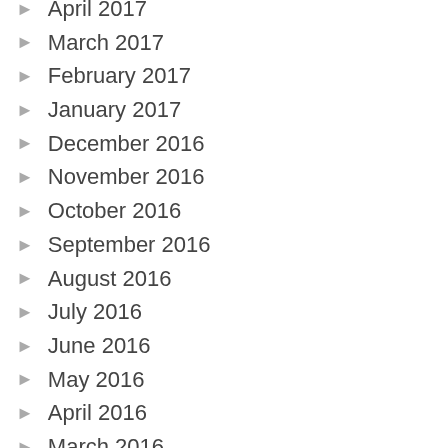April 2017
March 2017
February 2017
January 2017
December 2016
November 2016
October 2016
September 2016
August 2016
July 2016
June 2016
May 2016
April 2016
March 2016
February 2016
January 2016
December 2015
October 2015